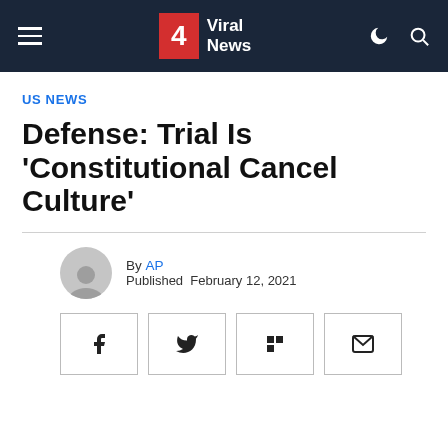4 Viral News
US NEWS
Defense: Trial Is 'Constitutional Cancel Culture'
By AP
Published February 12, 2021
[Figure (other): Social share buttons: Facebook, Twitter, Flipboard, Email]